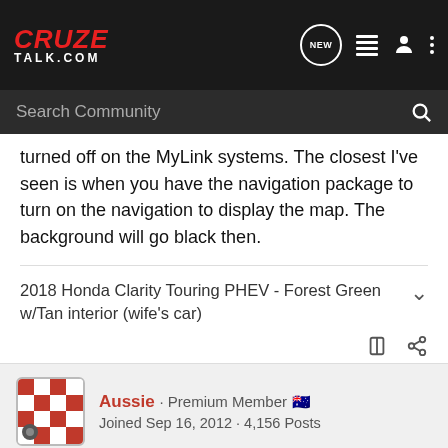[Figure (screenshot): CruzeTalk.com navigation bar with logo, new message icon, list icon, user icon, and more options icon]
[Figure (screenshot): Dark search bar with 'Search Community' placeholder text and search icon]
turned off on the MyLink systems. The closest I've seen is when you have the navigation package to turn on the navigation to display the map. The background will go black then.
2018 Honda Clarity Touring PHEV - Forest Green w/Tan interior (wife's car)
Aussie · Premium Member 🇦🇺
Joined Sep 16, 2012 · 4,156 Posts
#3 · Aug 16, 2013 (Edited)
Congratulations on your new car. As of 2013 the manual is no